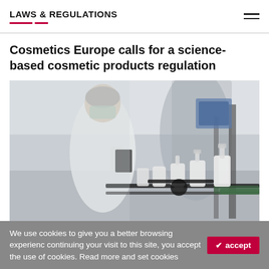LAWS & REGULATIONS
Cosmetics Europe calls for a science-based cosmetic products regulation
[Figure (photo): A laboratory worker in white coat and face mask holding a clipboard, with cosmetic product bottles on a production line conveyor in the foreground]
We use cookies to give you a better browsing experience. By continuing your visit to this site, you accept the use of cookies. Read more and set cookies